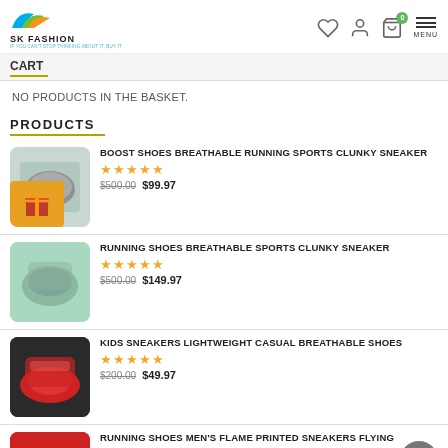[Figure (screenshot): SK Fashion website header with logo, heart icon, user icon, cart icon with badge 0, and MENU]
CART
NO PRODUCTS IN THE BASKET.
PRODUCTS
BOOST SHOES BREATHABLE RUNNING SPORTS CLUNKY SNEAKER
★★★★★
$500.00 $99.97
RUNNING SHOES BREATHABLE SPORTS CLUNKY SNEAKER
★★★★★
$500.00 $149.97
KIDS SNEAKERS LIGHTWEIGHT CASUAL BREATHABLE SHOES
★★★★★
$200.00 $49.97
RUNNING SHOES MEN'S FLAME PRINTED SNEAKERS FLYING